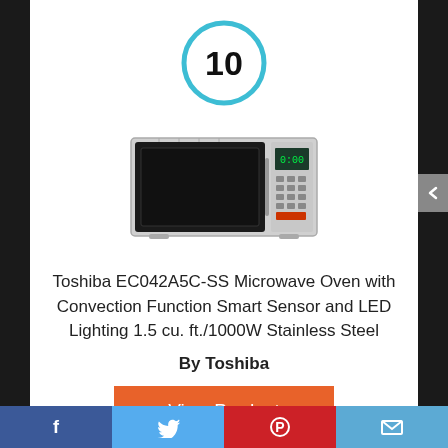[Figure (other): Rank badge: circle with number 10 inside, cyan/teal border]
[Figure (photo): Toshiba EC042A5C-SS stainless steel microwave oven product photo]
Toshiba EC042A5C-SS Microwave Oven with Convection Function Smart Sensor and LED Lighting 1.5 cu. ft./1000W Stainless Steel
By Toshiba
View Product
Facebook | Twitter | Pinterest | Email